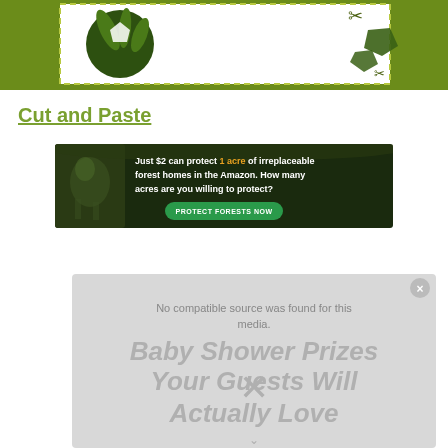[Figure (illustration): Top green banner with white inner panel containing dashed border, watermelon circle illustration on left, pentagon/scissor shapes on right]
Cut and Paste
[Figure (infographic): Forest conservation advertisement: 'Just $2 can protect 1 acre of irreplaceable forest homes in the Amazon. How many acres are you willing to protect?' with PROTECT FORESTS NOW button, bird/animal photo on left]
[Figure (screenshot): Video player overlay showing 'No compatible source was found for this media.' with watermarked text 'Baby Shower Prizes Your Guests Will Actually Love' and X close button]